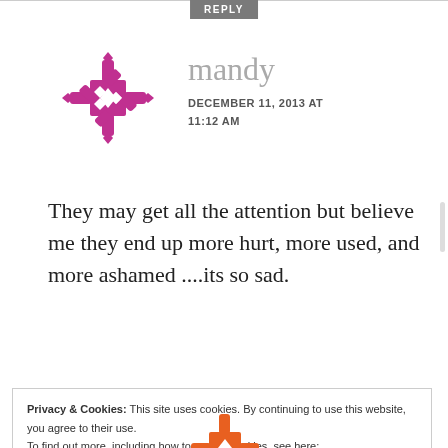REPLY
[Figure (illustration): Purple snowflake/asterisk avatar icon for user mandy]
mandy
DECEMBER 11, 2013 AT 11:12 AM
They may get all the attention but believe me they end up more hurt, more used, and more ashamed ....its so sad.
Privacy & Cookies: This site uses cookies. By continuing to use this website, you agree to their use.
To find out more, including how to control cookies, see here:
Cookie Policy
Close and accept